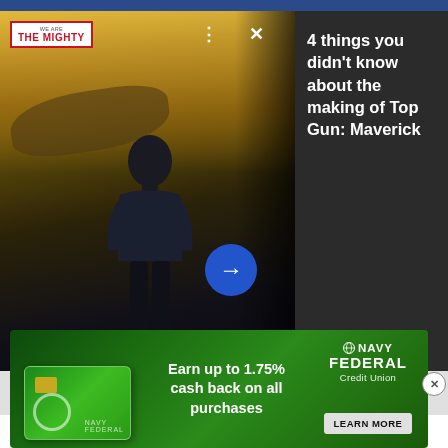[Figure (screenshot): A movie promotional card overlay showing a person in a flight suit against a fighter jet background with warm golden tones. The card includes the 'We Are The Mighty' logo top left, three dots and an X close button, a blue circular arrow button, and a dark right panel with bold white text.]
4 things you didn't know about the making of Top Gun: Maverick
ready.
You're strong enough to do a headstand, sure. Headstands are easy to do — but they're very hard to do correctly. That's the thing about the
[Figure (screenshot): Navy Federal Credit Union advertisement banner showing a dark green credit card with globe design, text 'Earn up to 1.75% cash back on all purchases', and Navy Federal Credit Union logo with LEARN MORE button.]